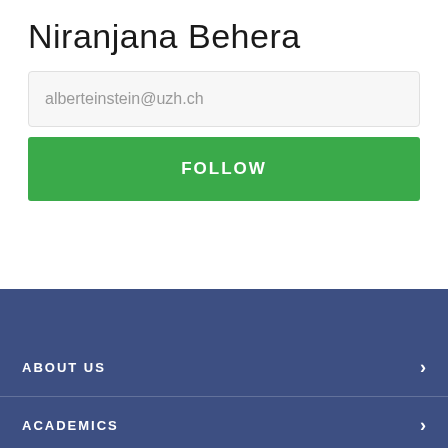Niranjana Behera
alberteinstein@uzh.ch
FOLLOW
ABOUT US
ACADEMICS
INTERNATIONAL RELATIONS